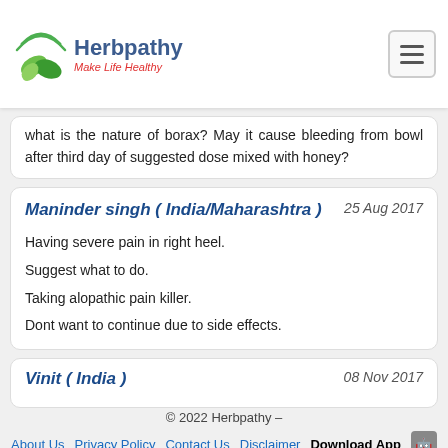Herbpathy – Make Life Healthy
what is the nature of borax? May it cause bleeding from bowl after third day of suggested dose mixed with honey?
Maninder singh ( India/Maharashtra )    25 Aug 2017
Having severe pain in right heel.
Suggest what to do.
Taking alopathic pain killer.
Dont want to continue due to side effects.
Vinit ( India )    08 Nov 2017
© 2022 Herbpathy –
About Us   Privacy Policy   Contact Us   Disclaimer   Download App